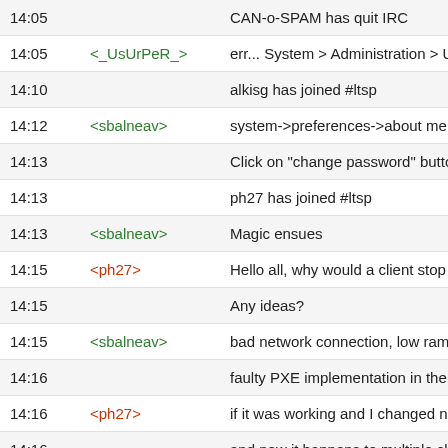| Time | User | Message |
| --- | --- | --- |
| 14:05 |  | CAN-o-SPAM has quit IRC |
| 14:05 | <_UsUrPeR_> | err... System > Administration > Users & Groups m |
| 14:10 |  | alkisg has joined #ltsp |
| 14:12 | <sbalneav> | system->preferences->about me |
| 14:13 |  | Click on "change password" button |
| 14:13 |  | ph27 has joined #ltsp |
| 14:13 | <sbalneav> | Magic ensues |
| 14:15 | <ph27> | Hello all, why would a client stop booting after Loa |
| 14:15 |  | Any ideas? |
| 14:15 | <sbalneav> | bad network connection, low ram, incorrectly confi |
| 14:16 |  | faulty PXE implementation in the client |
| 14:16 | <ph27> | if it was working and I changed nothing other than |
| 14:16 |  | and now it happens to multiple clients. |